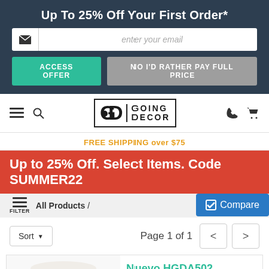Up To 25% Off Your First Order*
enter your email
ACCESS OFFER
NO I'D RATHER PAY FULL PRICE
[Figure (logo): Going Decor logo with GD monogram and text GOING DECOR]
FREE SHIPPING over $75
Up to 25% Off. Select Items. Code SUMMER22
FILTER   All Products /
Sort ▼   Page 1 of 1   <   >   Compare
Nuevo HGDA502
Nuevo HGDA502 Kahn Counter Stool in White/Black